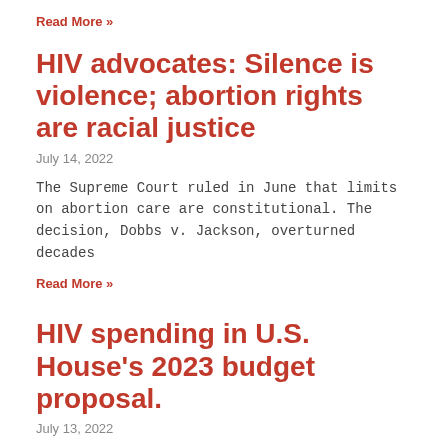Read More »
HIV advocates: Silence is violence; abortion rights are racial justice
July 14, 2022
The Supreme Court ruled in June that limits on abortion care are constitutional. The decision, Dobbs v. Jackson, overturned decades
Read More »
HIV spending in U.S. House's 2023 budget proposal.
July 13, 2022